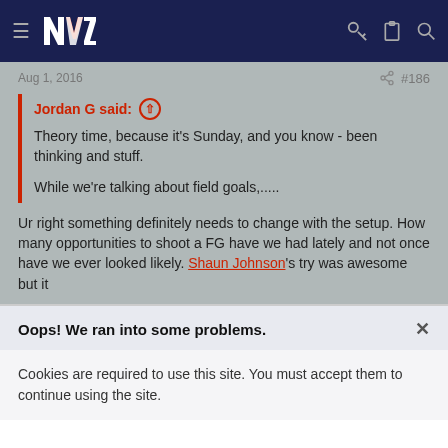NVZ forum navigation header with hamburger menu, NVZ logo, key icon, clipboard icon, search icon
Aug 1, 2016 #186
Jordan G said: ↑

Theory time, because it's Sunday, and you know - been thinking and stuff.

While we're talking about field goals,.....
Ur right something definitely needs to change with the setup. How many opportunities to shoot a FG have we had lately and not once have we ever looked likely. Shaun Johnson's try was awesome but it
Oops! We ran into some problems.  ×
Cookies are required to use this site. You must accept them to continue using the site.